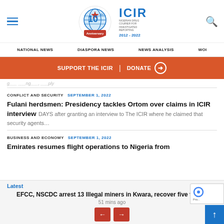ICIR 10th Anniversary – 2012-2022
NATIONAL NEWS | DIASPORA NEWS | NEWS ANALYSIS | WOI
SUPPORT THE ICIR | DONATE
CONFLICT AND SECURITY  SEPTEMBER 1, 2022  Fulani herdsmen: Presidency tackles Ortom over claims in ICIR interview  DAYS after granting an interview to The ICIR where he claimed that security agents...
BUSINESS AND ECONOMY  SEPTEMBER 1, 2022  Emirates resumes flight operations to Nigeria from
Latest  EFCC, NSCDC arrest 13 Illegal miners in Kwara, recover five trucks  51 mins ago